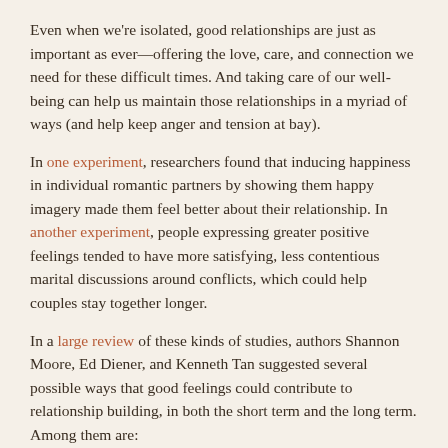Even when we're isolated, good relationships are just as important as ever—offering the love, care, and connection we need for these difficult times. And taking care of our well-being can help us maintain those relationships in a myriad of ways (and help keep anger and tension at bay).
In one experiment, researchers found that inducing happiness in individual romantic partners by showing them happy imagery made them feel better about their relationship. In another experiment, people expressing greater positive feelings tended to have more satisfying, less contentious marital discussions around conflicts, which could help couples stay together longer.
In a large review of these kinds of studies, authors Shannon Moore, Ed Diener, and Kenneth Tan suggested several possible ways that good feelings could contribute to relationship building, in both the short term and the long term. Among them are:
Happy people are more likely to engage with others and be more social.